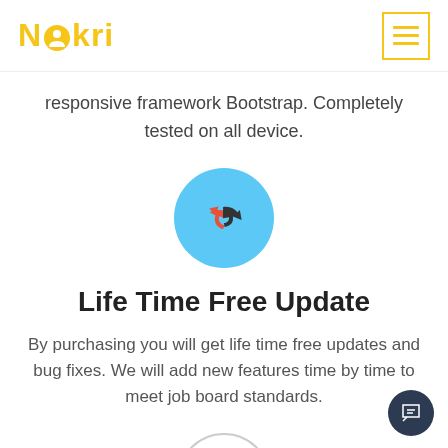Nokri
responsive framework Bootstrap. Completely tested on all device.
[Figure (illustration): A light blue circle icon containing two curved arrows — one red/orange pointing left and one dark grey pointing right, forming a refresh/update symbol.]
Life Time Free Update
By purchasing you will get life time free updates and bug fixes. We will add new features time by time to meet job board standards.
[Figure (illustration): A circle with a thin grey border containing a person/user icon (silhouette) above a small red badge with 'Desk' text.]